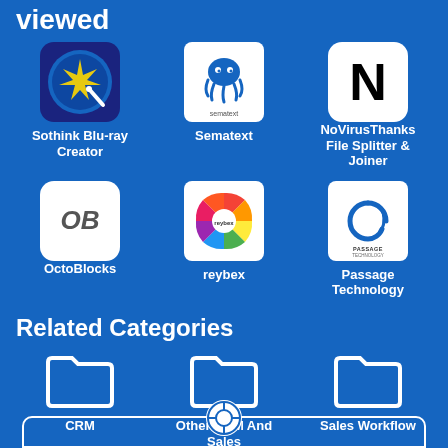viewed
[Figure (illustration): Sothink Blu-ray Creator app icon - dark blue circular icon with star/wand]
Sothink Blu-ray Creator
[Figure (logo): Sematext app icon - white background with octopus logo and sematext text]
Sematext
[Figure (logo): NoVirusThanks File Splitter & Joiner icon - white background with bold N]
NoVirusThanks File Splitter & Joiner
[Figure (logo): OctoBlocks icon - white background with OB text]
OctoBlocks
[Figure (illustration): reybex icon - colorful wheel/circle logo]
reybex
[Figure (logo): Passage Technology icon - white background with P logo and PASSAGE TECHNOLOGY text]
Passage Technology
Related Categories
[Figure (illustration): Folder icon for CRM category]
CRM
[Figure (illustration): Folder icon for Other CRM And Sales category]
Other CRM And Sales
[Figure (illustration): Folder icon for Sales Workflow category]
Sales Workflow